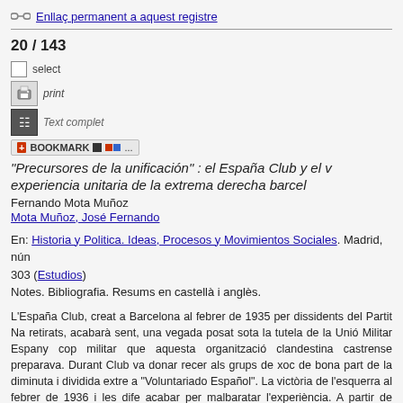Enllaç permanent a aquest registre
20 / 143
select
print
Text complet
BOOKMARK
"Precursores de la unificación" : el España Club y el v... experiencia unitaria de la extrema derecha barcel...
Fernando Mota Muñoz
Mota Muñoz, José Fernando
En: Historia y Politica. Ideas, Procesos y Movimientos Sociales. Madrid, nún 303 (Estudios)
Notes. Bibliografia. Resums en castellà i anglès.
L'España Club, creat a Barcelona al febrer de 1935 per dissidents del Partit Na retirats, acabarà sent, una vegada posat sota la tutela de la Unió Militar Espany cop militar que aquesta organització clandestina castrense preparava. Durant Club va donar recer als grups de xoc de bona part de la diminuta i dividida extre a "Voluntariado Español". La victòria de l'esquerra al febrer de 1936 i les dife acabar per malbaratar l'experiència. A partir de llavors, els militars colpistes van grup la seva implicació en la conspiració.